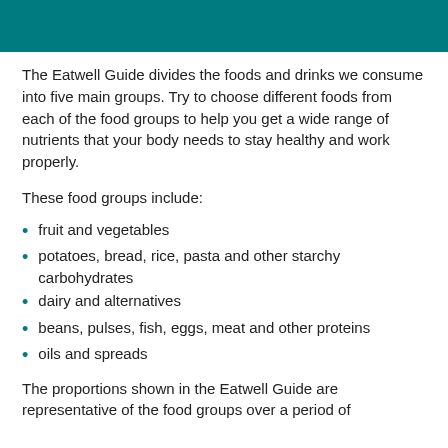[Figure (illustration): Teal/dark cyan header banner at top of page, partially showing a circular logo or icon]
The Eatwell Guide divides the foods and drinks we consume into five main groups. Try to choose different foods from each of the food groups to help you get a wide range of nutrients that your body needs to stay healthy and work properly.
These food groups include:
fruit and vegetables
potatoes, bread, rice, pasta and other starchy carbohydrates
dairy and alternatives
beans, pulses, fish, eggs, meat and other proteins
oils and spreads
The proportions shown in the Eatwell Guide are representative of the food groups over a period of